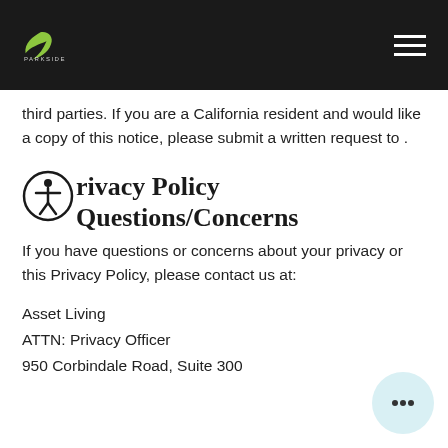Parkside [logo]
third parties. If you are a California resident and would like a copy of this notice, please submit a written request to .
Privacy Policy Questions/Concerns
If you have questions or concerns about your privacy or this Privacy Policy, please contact us at:
Asset Living
ATTN: Privacy Officer
950 Corbindale Road, Suite 300